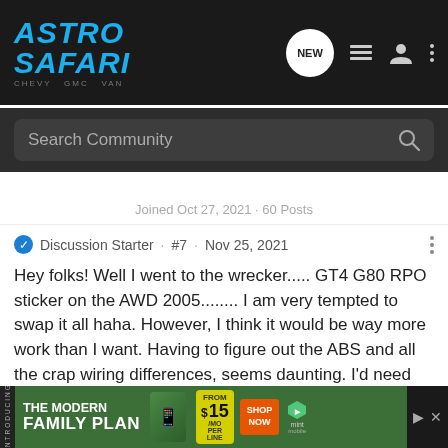ASTRO SAFARI — Navigation bar with NEW, list, user, and more icons
Search Community
Joined Oct 27, 2021 · 60 Posts
Discussion Starter · #7 · Nov 25, 2021
Hey folks! Well I went to the wrecker..... GT4 G80 RPO sticker on the AWD 2005........ I am very tempted to swap it all haha. However, I think it would be way more work than I want. Having to figure out the ABS and all the crap wiring differences, seems daunting. I'd need the axle out rear complete, front CV's, front spindles and brakes, probably some bits and pieces here and there.

Not sure, I think it may be wiser for me to just wait for a 5 Lug 3.73 AWD to show up one day, and grab those bits, would be easier to
[Figure (screenshot): Advertisement banner: THE MODERN FAMILY PLAN FROM $15/MO PER LINE — mint mobile ad with SHOP NOW button]